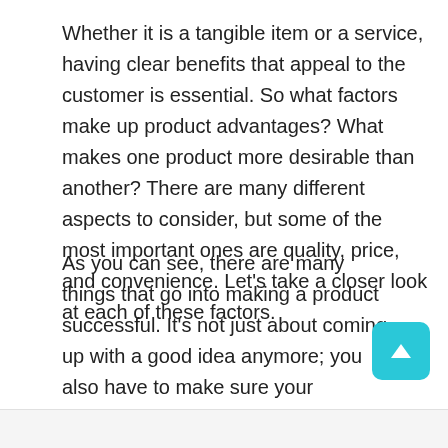Whether it is a tangible item or a service, having clear benefits that appeal to the customer is essential. So what factors make up product advantages? What makes one product more desirable than another? There are many different aspects to consider, but some of the most important ones are quality, price, and convenience. Let's take a closer look at each of these factors.
As you can see, there are many things that go into making a product successful. It's not just about coming up with a good idea anymore; you also have to make sure your execution is flawless. That's why it's so important to understand the concept of product advantages and how they can help you sell